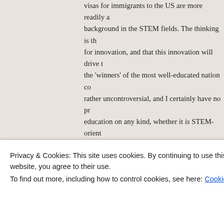visas for immigrants to the US are more readily available for those with a background in the STEM fields. The thinking is that STEM fields are vital for innovation, and that this innovation will drive the economy, making the 'winners' of the most well-educated nation competition. This is rather uncontroversial, and I certainly have no problem with higher education on any kind, whether it is STEM-oriented or not. My concern, however, is that the emphasis on STEM field competencies is becoming a sort of Zero-Sum game, in which a top-down government mandate for more STEM education means a corresponding loss in importance or respect for other fields or types of education that lend to instant innovation or economic dynamism. I am referring to more cultural fields of education known as the Liberal A
Advertisements
Privacy & Cookies: This site uses cookies. By continuing to use this website, you agree to their use.
To find out more, including how to control cookies, see here: Cookie Policy
Close and accept
Literature, Languages, and Philosophy, among m